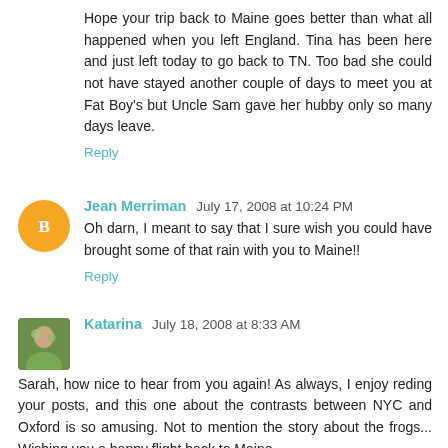Hope your trip back to Maine goes better than what all happened when you left England. Tina has been here and just left today to go back to TN. Too bad she could not have stayed another couple of days to meet you at Fat Boy's but Uncle Sam gave her hubby only so many days leave.
Reply
Jean Merriman  July 17, 2008 at 10:24 PM
Oh darn, I meant to say that I sure wish you could have brought some of that rain with you to Maine!!
Reply
Katarina  July 18, 2008 at 8:33 AM
Sarah, how nice to hear from you again! As always, I enjoy reding your posts, and this one about the contrasts between NYC and Oxford is so amusing. Not to mention the story about the frogs... Wishing you a happy flight back to Maine.
/Katarina